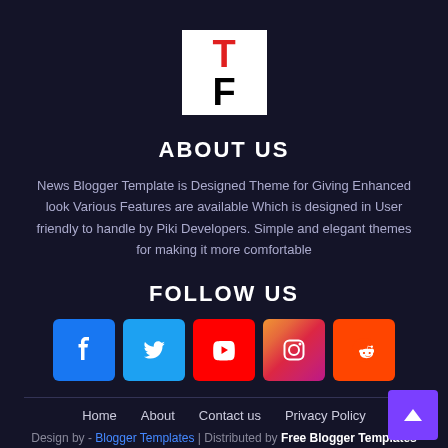[Figure (logo): White square logo with red T and black F letters]
ABOUT US
News Blogger Template is Designed Theme for Giving Enhanced look Various Features are available Which is designed in User friendly to handle by Piki Developers. Simple and elegant themes for making it more comfortable
FOLLOW US
[Figure (infographic): Row of 5 social media icons: Facebook, Twitter, YouTube, Instagram, Reddit]
Home    About    Contact us    Privacy Policy
Design by - Blogger Templates | Distributed by Free Blogger Templates